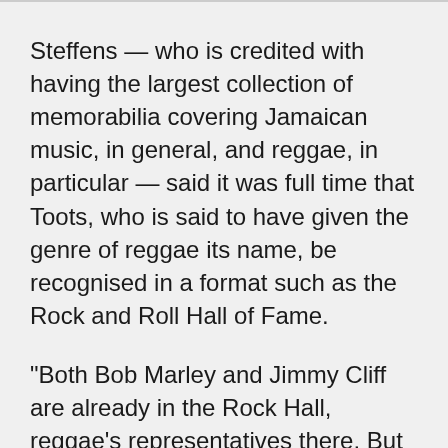Steffens — who is credited with having the largest collection of memorabilia covering Jamaican music, in general, and reggae, in particular — said it was full time that Toots, who is said to have given the genre of reggae its name, be recognised in a format such as the Rock and Roll Hall of Fame.
“Both Bob Marley and Jimmy Cliff are already in the Rock Hall, reggae's representatives there. But why is the very creator of the word 'reggae' not there alongside of them? He has spread the message of Jah music throughout the world, and was active to the very end of his life, with a bright new album released just days before his passing. His performances